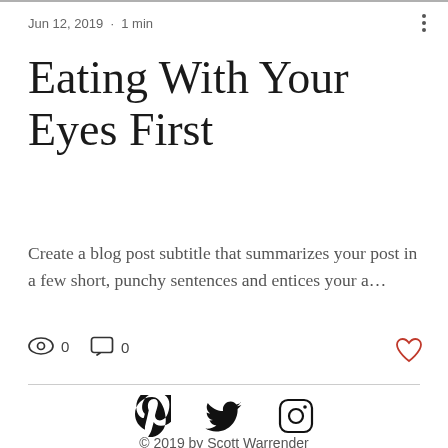Jun 12, 2019 · 1 min
Eating with your eyes first
Create a blog post subtitle that summarizes your post in a few short, punchy sentences and entices your a…
[Figure (infographic): View count (0), comment count (0), and heart/like button icons]
[Figure (infographic): Social media icons: Pinterest, Twitter, Instagram]
© 2019 by Scott Warrender
[Figure (infographic): Bottom navigation bar with Phone, Email, and Facebook icons]